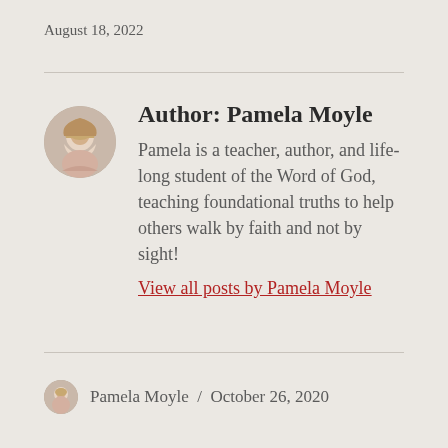August 18, 2022
[Figure (illustration): Circular avatar photo of Pamela Moyle, a woman with blonde/gray hair]
Author: Pamela Moyle
Pamela is a teacher, author, and life-long student of the Word of God, teaching foundational truths to help others walk by faith and not by sight!
View all posts by Pamela Moyle
[Figure (illustration): Small circular avatar photo of Pamela Moyle]
Pamela Moyle / October 26, 2020